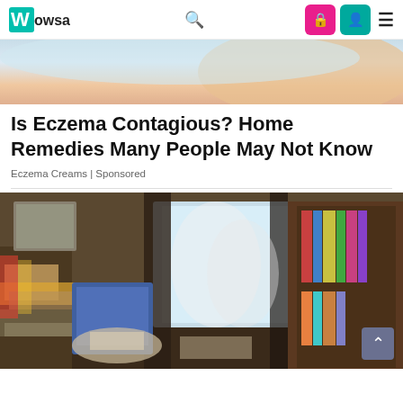Wowsa
[Figure (photo): Close-up photo of skin (arm/shoulder area), partially cropped, suggesting eczema-related article imagery]
Is Eczema Contagious? Home Remedies Many People May Not Know
Eczema Creams | Sponsored
[Figure (photo): Cluttered, messy room filled with boxes, furniture, books on shelves, curtains near a window — appears to be a hoarding situation]